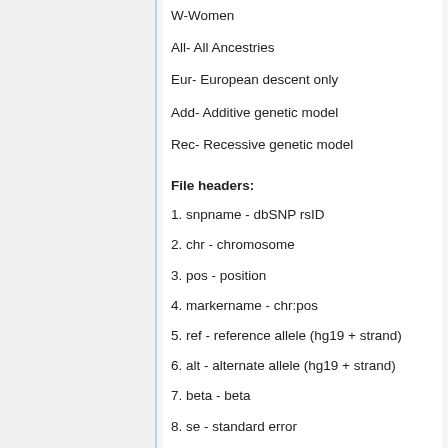W-Women
All- All Ancestries
Eur- European descent only
Add- Additive genetic model
Rec- Recessive genetic model
File headers:
1. snpname - dbSNP rsID
2. chr - chromosome
3. pos - position
4. markername - chr:pos
5. ref - reference allele (hg19 + strand)
6. alt - alternate allele (hg19 + strand)
7. beta - beta
8. se - standard error
9. pvalue - P value
10. n - sample size
11. gmaf/eur_maf - alternate allele frequency